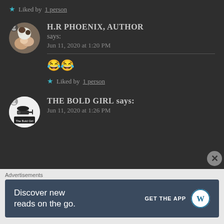★ Liked by 1 person
H.R PHOENIX, AUTHOR says: Jun 11, 2020 at 1:20 PM
😂😂
★ Liked by 1 person
THE BOLD GIRL says: Jun 11, 2020 at 1:26 PM
Advertisements
Discover new reads on the go. GET THE APP